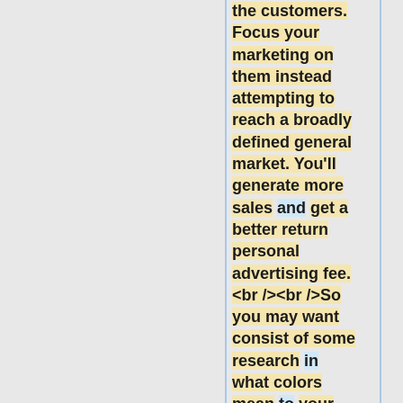the customers. Focus your marketing on them instead attempting to reach a broadly defined general market. You'll generate more sales and get a better return personal advertising fee. <br /><br />So you may want consist of some research in what colors mean to your target business. Colors that would get the eye of a
and gum Arabic.